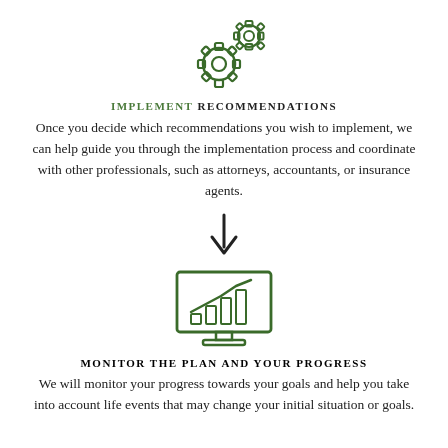[Figure (illustration): Two interlocking gear icons drawn in dark green outline style]
IMPLEMENT RECOMMENDATIONS
Once you decide which recommendations you wish to implement, we can help guide you through the implementation process and coordinate with other professionals, such as attorneys, accountants, or insurance agents.
[Figure (illustration): A downward-pointing arrow icon]
[Figure (illustration): A computer monitor icon displaying a bar chart with a rising line, drawn in dark green outline style]
MONITOR THE PLAN AND YOUR PROGRESS
We will monitor your progress towards your goals and help you take into account life events that may change your initial situation or goals.